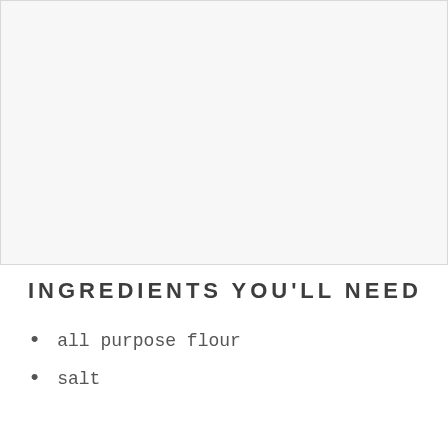[Figure (photo): Image placeholder area — large light gray rectangle occupying the top portion of the page]
INGREDIENTS YOU'LL NEED
all purpose flour
salt